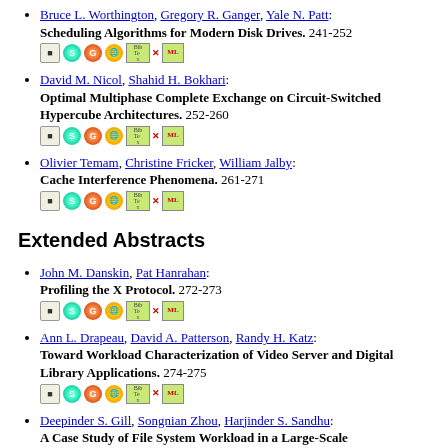Bruce L. Worthington, Gregory R. Ganger, Yale N. Patt: Scheduling Algorithms for Modern Disk Drives. 241-252
David M. Nicol, Shahid H. Bokhari: Optimal Multiphase Complete Exchange on Circuit-Switched Hypercube Architectures. 252-260
Olivier Temam, Christine Fricker, William Jalby: Cache Interference Phenomena. 261-271
Extended Abstracts
John M. Danskin, Pat Hanrahan: Profiling the X Protocol. 272-273
Ann L. Drapeau, David A. Patterson, Randy H. Katz: Toward Workload Characterization of Video Server and Digital Library Applications. 274-275
Deepinder S. Gill, Songnian Zhou, Harjinder S. Sandhu: A Case Study of File System Workload in a Large-Scale Distributed Environment. 276-277